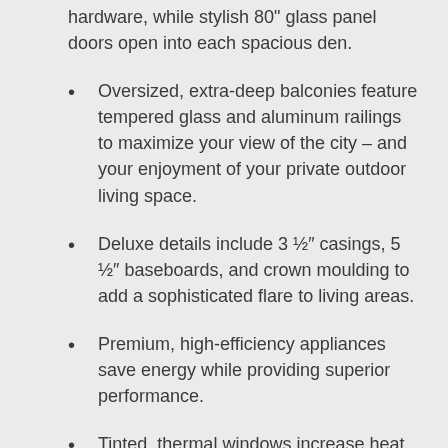hardware, while stylish 80" glass panel doors open into each spacious den.
Oversized, extra-deep balconies feature tempered glass and aluminum railings to maximize your view of the city – and your enjoyment of your private outdoor living space.
Deluxe details include 3 ½" casings, 5 ½" baseboards, and crown moulding to add a sophisticated flare to living areas.
Premium, high-efficiency appliances save energy while providing superior performance.
Tinted, thermal windows increase heat retention in winter and improve cooling